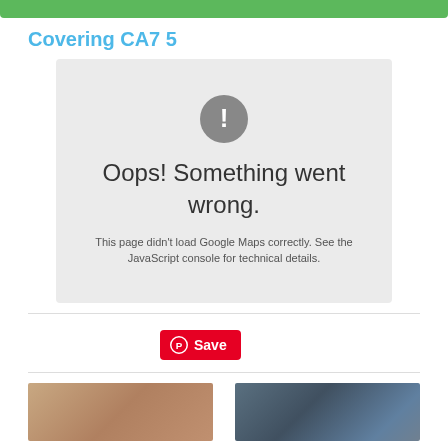Covering CA7 5
[Figure (screenshot): Google Maps error box with grey background showing exclamation icon, 'Oops! Something went wrong.' message, and 'This page didn't load Google Maps correctly. See the JavaScript console for technical details.' text]
[Figure (other): Red Pinterest Save button with Pinterest logo]
[Figure (photo): Two thumbnail photos: left shows a brick wall surface, right shows a street scene with trees against a blue sky]